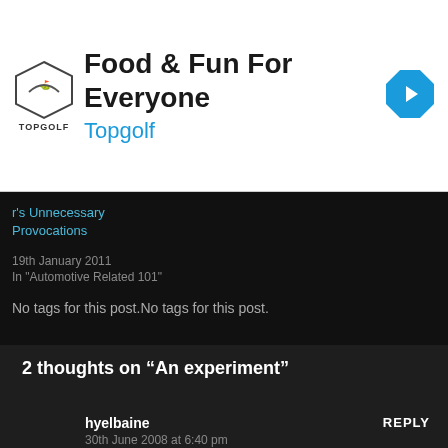[Figure (infographic): Topgolf advertisement banner with logo, title 'Food & Fun For Everyone', subtitle 'Topgolf', and a blue navigation arrow icon on the right.]
r's Unnecessary Provocations
19th January 2011
In "Automotive Related 101"
No tags for this post.No tags for this post.
2 thoughts on “An experiment”
hyelbaine
30th June 2008 at 6:40 pm